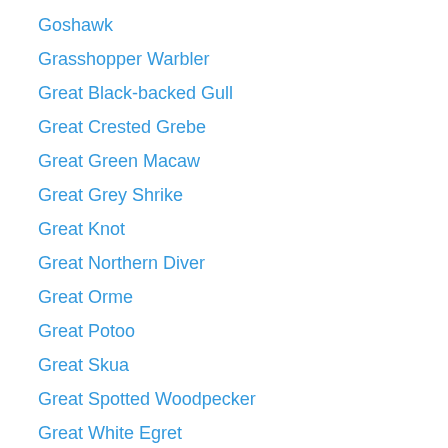Goshawk
Grasshopper Warbler
Great Black-backed Gull
Great Crested Grebe
Great Green Macaw
Great Grey Shrike
Great Knot
Great Northern Diver
Great Orme
Great Potoo
Great Skua
Great Spotted Woodpecker
Great White Egret
Greater Flamingo
Greater Yellowlegs
Green Honeycreeper
Green Ibis
Green Woodpecker
Green-breasted Mango
Green-crowned Brilliant